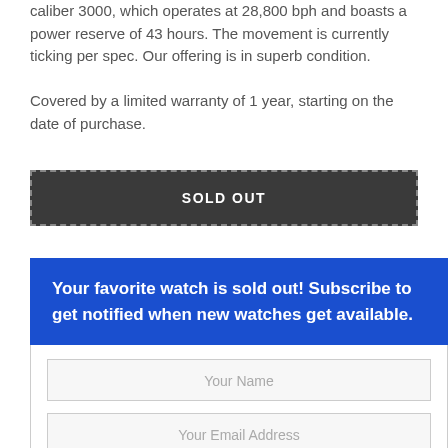caliber 3000, which operates at 28,800 bph and boasts a power reserve of 43 hours. The movement is currently ticking per spec. Our offering is in superb condition.

Covered by a limited warranty of 1 year, starting on the date of purchase.
SOLD OUT
Your favorite watch is sold out! Subscribe to get notified when new watches get available.
Your Name
Your Email Address